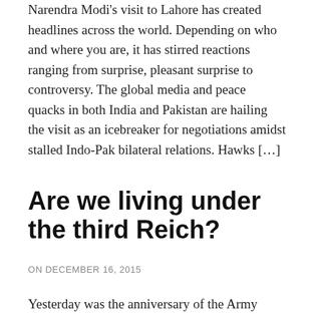Narendra Modi's visit to Lahore has created headlines across the world. Depending on who and where you are, it has stirred reactions ranging from surprise, pleasant surprise to controversy. The global media and peace quacks in both India and Pakistan are hailing the visit as an icebreaker for negotiations amidst stalled Indo-Pak bilateral relations. Hawks […]
Are we living under the third Reich?
ON DECEMBER 16, 2015
Yesterday was the anniversary of the Army Public School (APS) attack. We are still all grieving the massacre of the 144 innocent souls who were killed